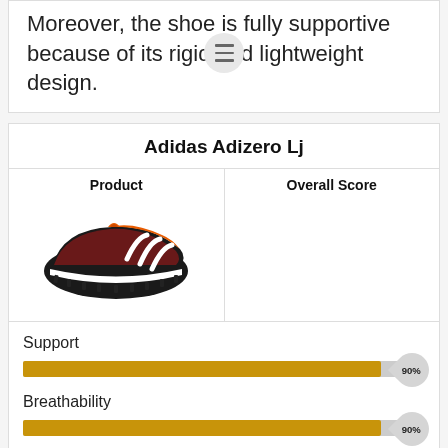Moreover, the shoe is fully supportive because of its rigid and lightweight design.
Adidas Adizero Lj
| Product | Overall Score |
| --- | --- |
| [shoe image] |  |
Support
[Figure (infographic): Horizontal progress bar showing Support score of 90%]
Breathability
[Figure (infographic): Horizontal progress bar showing Breathability score of 90%]